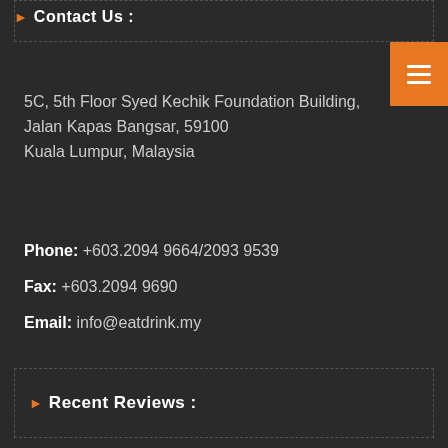Contact Us :
5C, 5th Floor Syed Kechik Foundation Building,
Jalan Kapas Bangsar, 59100
Kuala Lumpur, Malaysia
Phone: +603.2094 9664/2093 9539
Fax: +603.2094 9690
Email: info@eatdrink.my
Recent Reviews :